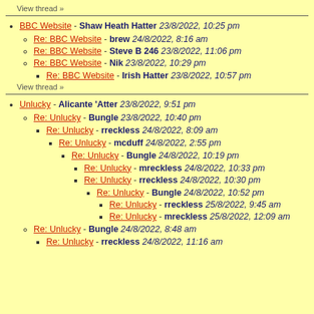View thread »
BBC Website - Shaw Heath Hatter 23/8/2022, 10:25 pm
Re: BBC Website - brew 24/8/2022, 8:16 am
Re: BBC Website - Steve B 246 23/8/2022, 11:06 pm
Re: BBC Website - Nik 23/8/2022, 10:29 pm
Re: BBC Website - Irish Hatter 23/8/2022, 10:57 pm
View thread »
Unlucky - Alicante 'Atter 23/8/2022, 9:51 pm
Re: Unlucky - Bungle 23/8/2022, 10:40 pm
Re: Unlucky - rreckless 24/8/2022, 8:09 am
Re: Unlucky - mcduff 24/8/2022, 2:55 pm
Re: Unlucky - Bungle 24/8/2022, 10:19 pm
Re: Unlucky - mreckless 24/8/2022, 10:33 pm
Re: Unlucky - rreckless 24/8/2022, 10:30 pm
Re: Unlucky - Bungle 24/8/2022, 10:52 pm
Re: Unlucky - rreckless 25/8/2022, 9:45 am
Re: Unlucky - mreckless 25/8/2022, 12:09 am
Re: Unlucky - Bungle 24/8/2022, 8:48 am
Re: Unlucky - rreckless 24/8/2022, 11:16 am